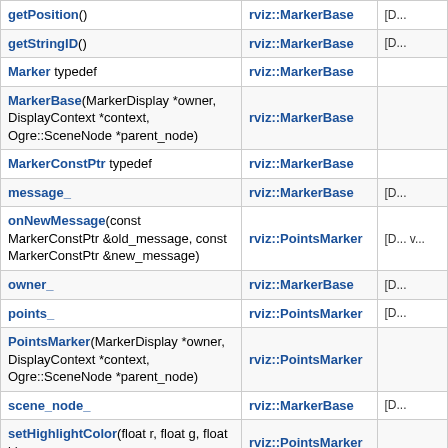| Member | Class | Description |
| --- | --- | --- |
| getPosition() | rviz::MarkerBase | [D... |
| getStringID() | rviz::MarkerBase | [D... |
| Marker typedef | rviz::MarkerBase |  |
| MarkerBase(MarkerDisplay *owner, DisplayContext *context, Ogre::SceneNode *parent_node) | rviz::MarkerBase |  |
| MarkerConstPtr typedef | rviz::MarkerBase |  |
| message_ | rviz::MarkerBase | [D... |
| onNewMessage(const MarkerConstPtr &old_message, const MarkerConstPtr &new_message) | rviz::PointsMarker | [D... v... |
| owner_ | rviz::MarkerBase | [D... |
| points_ | rviz::PointsMarker | [D... |
| PointsMarker(MarkerDisplay *owner, DisplayContext *context, Ogre::SceneNode *parent_node) | rviz::PointsMarker |  |
| scene_node_ | rviz::MarkerBase | [D... |
| setHighlightColor(float r, float g, float b) | rviz::PointsMarker |  |
| setInteractiveObject(InteractiveObjectWPtr object) | rviz::MarkerBase |  |
| setMessage(const Marker &message) | rviz::MarkerBase |  |
| setMessage(const MarkerConstPtr &message) | rviz::MarkerBase |  |
| setOrientation(const Ogre::Quaternion &orientation) | rviz::MarkerBase | [D... |